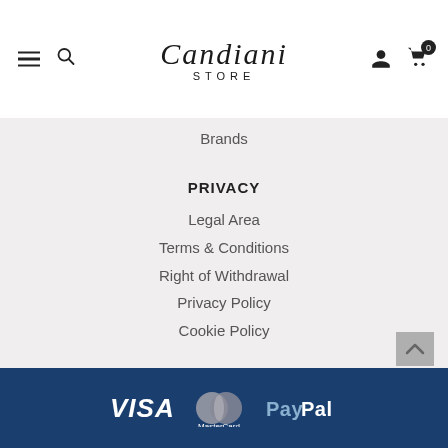Candiani Store
Brands
PRIVACY
Legal Area
Terms & Conditions
Right of Withdrawal
Privacy Policy
Cookie Policy
CUSTOMER SERVICE
Shipping
Return
Contact
FAQ's
How to Measure
VISA MasterCard PayPal